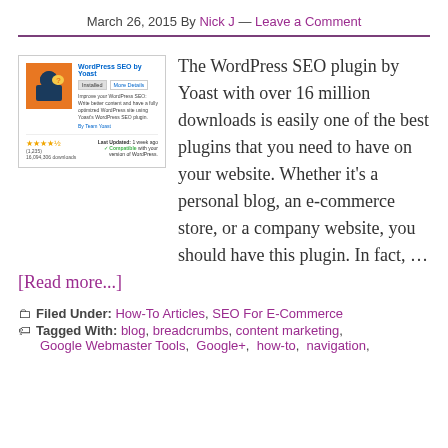March 26, 2015 By Nick J — Leave a Comment
[Figure (screenshot): WordPress SEO by Yoast plugin page screenshot showing icon, title, install/more details buttons, description, star rating, download count, last updated info, and compatibility notice.]
The WordPress SEO plugin by Yoast with over 16 million downloads is easily one of the best plugins that you need to have on your website. Whether it's a personal blog, an e-commerce store, or a company website, you should have this plugin. In fact, … [Read more...]
Filed Under: How-To Articles, SEO For E-Commerce
Tagged With: blog, breadcrumbs, content marketing,
Google Webmaster Tools, Google+, how-to, navigation,